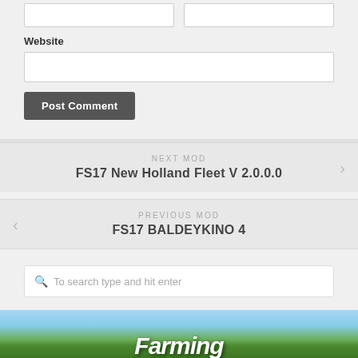Website
Post Comment
NEXT MOD
FS17 New Holland Fleet V 2.0.0.0
PREVIOUS MOD
FS17 BALDEYKINO 4
To search type and hit enter
[Figure (photo): Farming Simulator banner image with green fields and mountains in background]